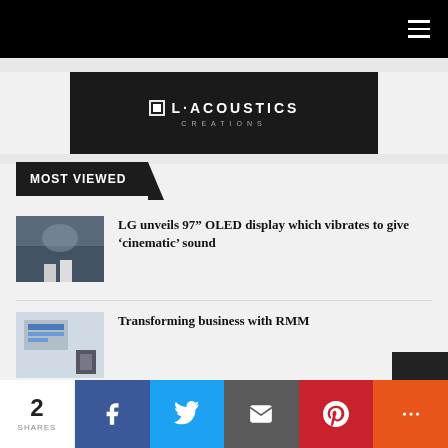Navigation bar with hamburger menu
[Figure (logo): L-Acoustics Creations advertisement banner, dark background with white logo and text]
MOST VIEWED
LG unveils 97” OLED display which vibrates to give ‘cinematic’ sound
Transforming business with RMM
2 SHARES | Facebook | Twitter | Email | Pinterest | More